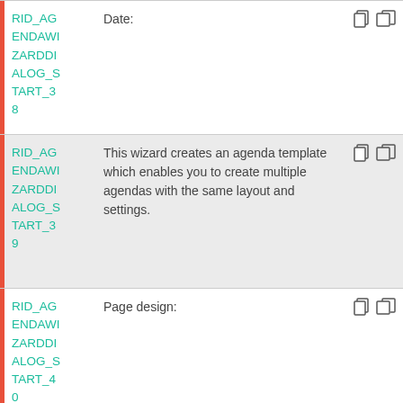| ID | Content | Actions |
| --- | --- | --- |
| RID_AGENDAWIZARDDIALOG_START_38 | Date: |  |
| RID_AGENDAWIZARDDIALOG_START_39 | This wizard creates an agenda template which enables you to create multiple agendas with the same layout and settings. |  |
| RID_AGENDAWIZARDDIALOG_START_40 | Page design: |  |